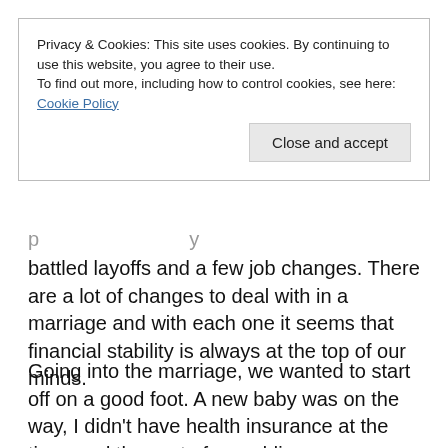Privacy & Cookies: This site uses cookies. By continuing to use this website, you agree to their use. To find out more, including how to control cookies, see here: Cookie Policy
Close and accept
battled layoffs and a few job changes. There are a lot of changes to deal with in a marriage and with each one it seems that financial stability is always at the top of our minds.
Going into the marriage, we wanted to start off on a good foot. A new baby was on the way, I didn't have health insurance at the time, and the cost of a wedding was very gut wrenching to think about.